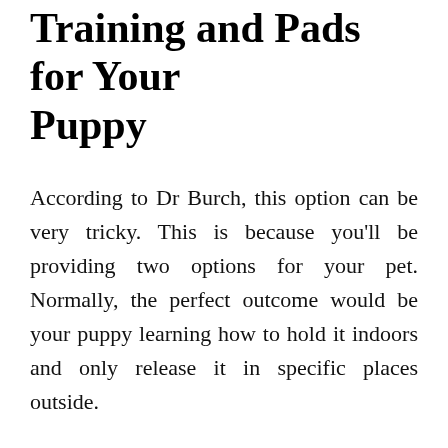Training and Pads for Your Puppy
According to Dr Burch, this option can be very tricky. This is because you'll be providing two options for your pet. Normally, the perfect outcome would be your puppy learning how to hold it indoors and only release it in specific places outside.
Wind Up
Potty training your puppy can be quite the hassle. However, the tips we just discussed